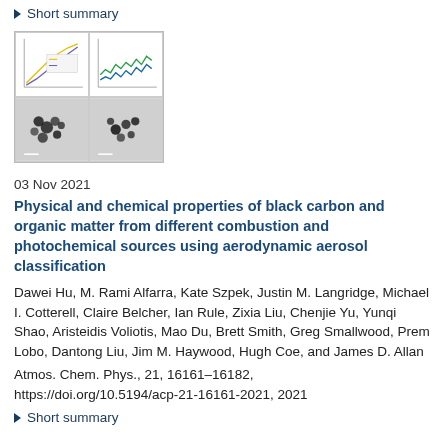▶ Short summary
[Figure (other): Thumbnail image showing four panels: top-left and top-right are line/scatter plots with colored lines, bottom-left and bottom-right are microscopy images of black carbon particles.]
03 Nov 2021
Physical and chemical properties of black carbon and organic matter from different combustion and photochemical sources using aerodynamic aerosol classification
Dawei Hu, M. Rami Alfarra, Kate Szpek, Justin M. Langridge, Michael I. Cotterell, Claire Belcher, Ian Rule, Zixia Liu, Chenjie Yu, Yunqi Shao, Aristeidis Voliotis, Mao Du, Brett Smith, Greg Smallwood, Prem Lobo, Dantong Liu, Jim M. Haywood, Hugh Coe, and James D. Allan
Atmos. Chem. Phys., 21, 16161–16182, https://doi.org/10.5194/acp-21-16161-2021, 2021
▶ Short summary